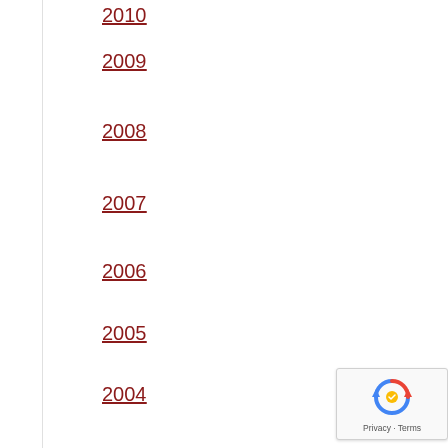2010
2009
2008
2007
2006
2005
2004
2003